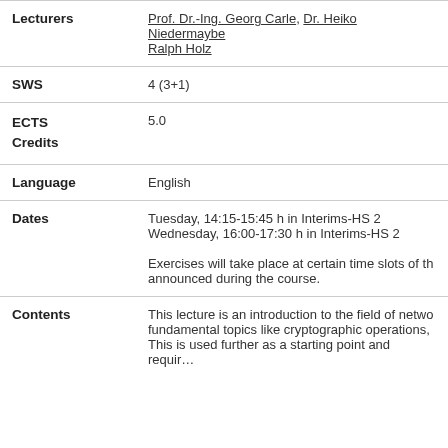| Field | Value |
| --- | --- |
| Lecturers | Prof. Dr.-Ing. Georg Carle, Dr. Heiko Niedermayr, Ralph Holz |
| SWS | 4 (3+1) |
| ECTS Credits | 5.0 |
| Language | English |
| Dates | Tuesday, 14:15-15:45 h in Interims-HS 2
Wednesday, 16:00-17:30 h in Interims-HS 2

Exercises will take place at certain time slots of the course, announced during the course. |
| Contents | This lecture is an introduction to the field of network security, fundamental topics like cryptographic operations, ... This is used further as a starting point and requires... |